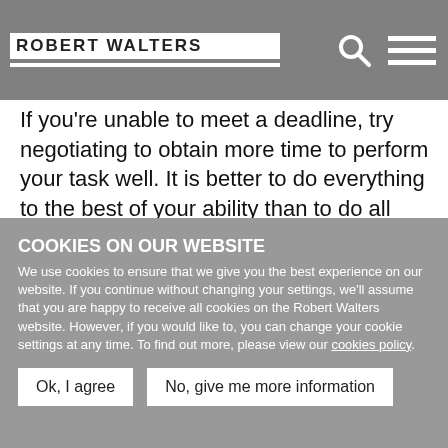ROBERT WALTERS
If you're unable to meet a deadline, try negotiating to obtain more time to perform your task well. It is better to do everything to the best of your ability than to do all things half heartedly. Do not be afraid to ask for help. If you feel you have been asked to deliver more than what is reasonable at any time, ask for assistance from colleagues or even your boss. Being overworked leads to poor work output, which does not benefit you or the company.
COOKIES ON OUR WEBSITE
We use cookies to ensure that we give you the best experience on our website. If you continue without changing your settings, we'll assume that you are happy to receive all cookies on the Robert Walters website. However, if you would like to, you can change your cookie settings at any time. To find out more, please view our cookies policy.
Ok, I agree
No, give me more information